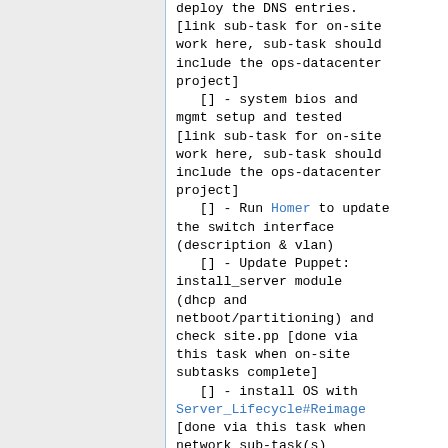deploy the DNS entries. [link sub-task for on-site work here, sub-task should include the ops-datacenter project]
[] - system bios and mgmt setup and tested [link sub-task for on-site work here, sub-task should include the ops-datacenter project]
[] - Run Homer to update the switch interface (description & vlan)
[] - Update Puppet: install_server module (dhcp and netboot/partitioning) and check site.pp [done via this task when on-site subtasks complete]
[] - install OS with Server_Lifecycle#Reimage [done via this task when network sub-task(s)